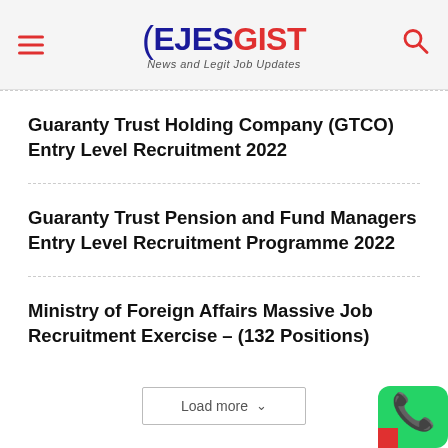EJESGIST News and Legit Job Updates
Guaranty Trust Holding Company (GTCO) Entry Level Recruitment 2022
Guaranty Trust Pension and Fund Managers Entry Level Recruitment Programme 2022
Ministry of Foreign Affairs Massive Job Recruitment Exercise – (132 Positions)